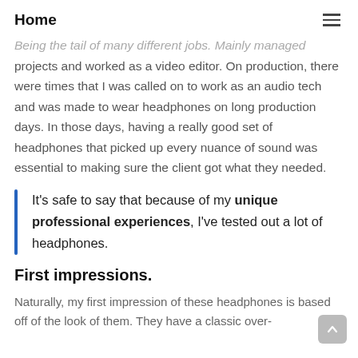Home
Being the tail of many different jobs. Mainly managed projects and worked as a video editor. On production, there were times that I was called on to work as an audio tech and was made to wear headphones on long production days. In those days, having a really good set of headphones that picked up every nuance of sound was essential to making sure the client got what they needed.
It’s safe to say that because of my unique professional experiences, I’ve tested out a lot of headphones.
First impressions.
Naturally, my first impression of these headphones is based off of the look of them. They have a classic over-